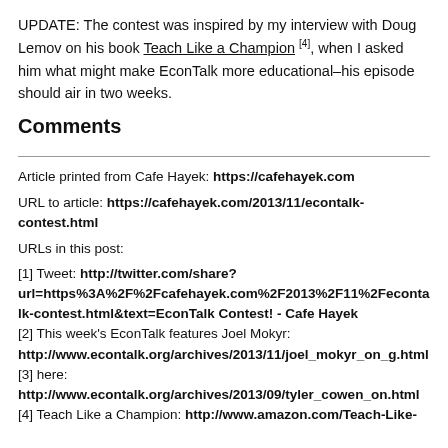UPDATE: The contest was inspired by my interview with Doug Lemov on his book Teach Like a Champion [4], when I asked him what might make EconTalk more educational–his episode should air in two weeks.
Comments
Article printed from Cafe Hayek: https://cafehayek.com
URL to article: https://cafehayek.com/2013/11/econtalk-contest.html
URLs in this post:
[1] Tweet: http://twitter.com/share?url=https%3A%2F%2Fcafehayek.com%2F2013%2F11%2Fecontalk-contest.html&text=EconTalk Contest! - Cafe Hayek
[2] This week's EconTalk features Joel Mokyr: http://www.econtalk.org/archives/2013/11/joel_mokyr_on_g.html
[3] here: http://www.econtalk.org/archives/2013/09/tyler_cowen_on.html
[4] Teach Like a Champion: http://www.amazon.com/Teach-Like-